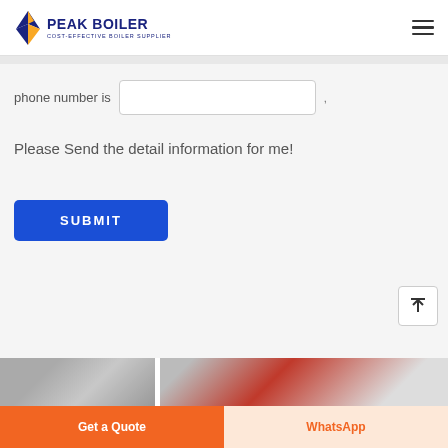[Figure (logo): Peak Boiler logo with blue house/flame icon and text 'PEAK BOILER COST-EFFECTIVE BOILER SUPPLIER']
phone number is
Please Send the detail information for me!
[Figure (screenshot): Blue SUBMIT button]
[Figure (photo): Partial boiler/industrial equipment photos at bottom of page]
Get a Quote
WhatsApp